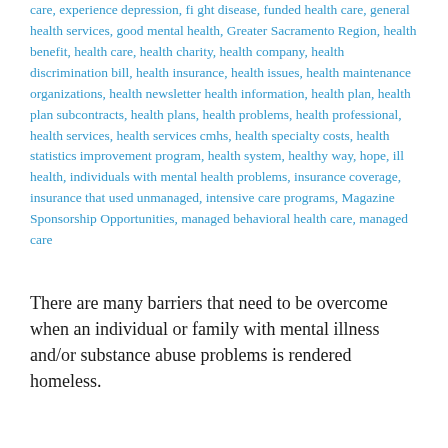care, experience depression, fight disease, funded health care, general health services, good mental health, Greater Sacramento Region, health benefit, health care, health charity, health company, health discrimination bill, health insurance, health issues, health maintenance organizations, health newsletter health information, health plan, health plan subcontracts, health plans, health problems, health professional, health services, health services cmhs, health specialty costs, health statistics improvement program, health system, healthy way, hope, ill health, individuals with mental health problems, insurance coverage, insurance that used unmanaged, intensive care programs, Magazine Sponsorship Opportunities, managed behavioral health care, managed care
There are many barriers that need to be overcome when an individual or family with mental illness and/or substance abuse problems is rendered homeless.